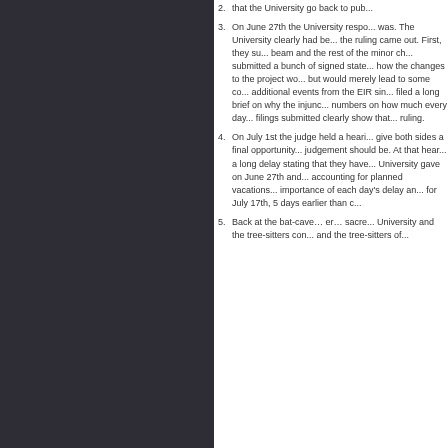that the University go back to pub...
On June 27th the University respo... was. The University clearly had be... the ruling came out. First, they su... beam and the rest of the minor ch... submitted a bunch of signed state... how the changes to the project wo... but would merely lead to some co... additional events from the EIR sin... filed a long brief on why the injunc... numbers on how much every day ... filings submitted clearly show that... ruling.
On July 1st the judge held a heari... give both sides a final opportunity... judgement should be. At that hear... a long delay stating that they have... University gave on June 27th and... accounting for planned vacations ... importance of each day's delay an... for July 17th, 5 days earlier than c...
Back at the bat-cave… er… sacre... University and the tree-sitters con... and the tree-sitters of...